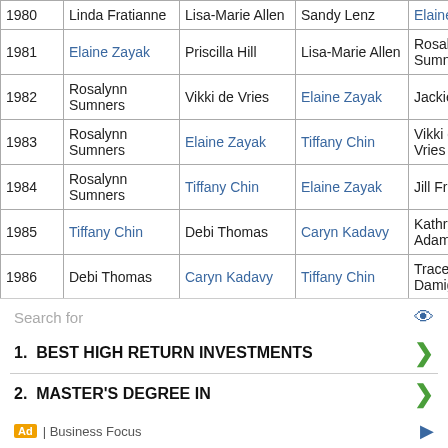| Year | 1st | 2nd | 3rd | 4th |
| --- | --- | --- | --- | --- |
| 1980 | Linda Fratianne | Lisa-Marie Allen | Sandy Lenz | Elaine Zayak |
| 1981 | Elaine Zayak | Priscilla Hill | Lisa-Marie Allen | Rosalynn Sumners |
| 1982 | Rosalynn Sumners | Vikki de Vries | Elaine Zayak | Jackie Farrell |
| 1983 | Rosalynn Sumners | Elaine Zayak | Tiffany Chin | Vikki de Vries |
| 1984 | Rosalynn Sumners | Tiffany Chin | Elaine Zayak | Jill Frost |
| 1985 | Tiffany Chin | Debi Thomas | Caryn Kadavy | Kathryn Adams |
| 1986 | Debi Thomas | Caryn Kadavy | Tiffany Chin | Tracey Damigella |
| 1987 | Jill Trenary | Debi Thomas | Caryn Kadavy | Tiffany Chin |
[Figure (screenshot): Advertisement banner: Search for / 1. BEST HIGH RETURN INVESTMENTS / 2. MASTER'S DEGREE IN / Business Focus]
Search for
1.  BEST HIGH RETURN INVESTMENTS
2.  MASTER'S DEGREE IN
Ad | Business Focus